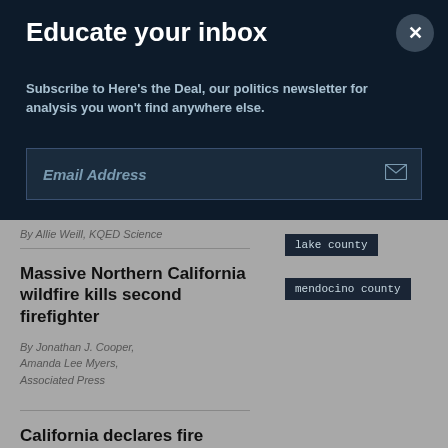Educate your inbox
Subscribe to Here's the Deal, our politics newsletter for analysis you won't find anywhere else.
Email Address
By  Allie Weill, KQED Science
lake county
mendocino county
Massive Northern California wildfire kills second firefighter
By  Jonathan J. Cooper, Amanda Lee Myers, Associated Press
California declares fire emergency as blazes across state continue